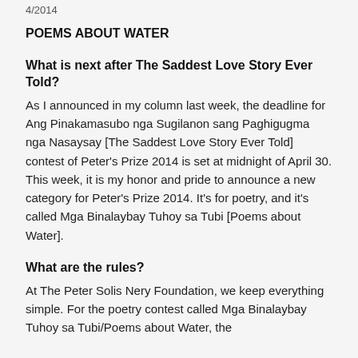4/2014
POEMS ABOUT WATER
What is next after The Saddest Love Story Ever Told?
As I announced in my column last week, the deadline for Ang Pinakamasubo nga Sugilanon sang Paghigugma nga Nasaysay [The Saddest Love Story Ever Told] contest of Peter’s Prize 2014 is set at midnight of April 30. This week, it is my honor and pride to announce a new category for Peter’s Prize 2014. It’s for poetry, and it’s called Mga Binalaybay Tuhoy sa Tubi [Poems about Water].
What are the rules?
At The Peter Solis Nery Foundation, we keep everything simple. For the poetry contest called Mga Binalaybay Tuhoy sa Tubi/Poems about Water, the